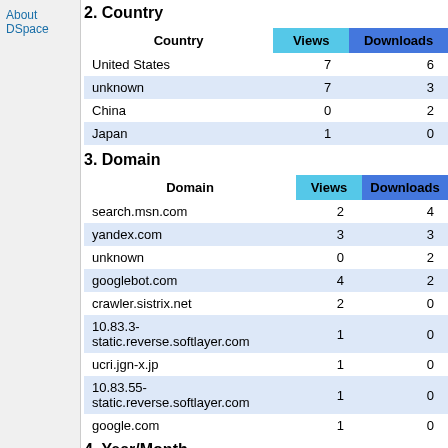About DSpace
2. Country
| Country | Views | Downloads |
| --- | --- | --- |
| United States | 7 | 6 |
| unknown | 7 | 3 |
| China | 0 | 2 |
| Japan | 1 | 0 |
3. Domain
| Domain | Views | Downloads |
| --- | --- | --- |
| search.msn.com | 2 | 4 |
| yandex.com | 3 | 3 |
| unknown | 0 | 2 |
| googlebot.com | 4 | 2 |
| crawler.sistrix.net | 2 | 0 |
| 10.83.3-static.reverse.softlayer.com | 1 | 0 |
| ucri.jgn-x.jp | 1 | 0 |
| 10.83.55-static.reverse.softlayer.com | 1 | 0 |
| google.com | 1 | 0 |
4. Year/Month